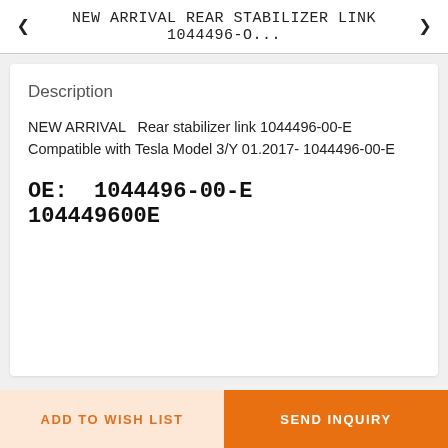NEW ARRIVAL REAR STABILIZER LINK 1044496-O...
Description
NEW ARRIVAL  Rear stabilizer link 1044496-00-E Compatible with Tesla Model 3/Y 01.2017- 1044496-00-E
OE:  1044496-00-E   104449600E
ADD TO WISH LIST   SEND INQUIRY